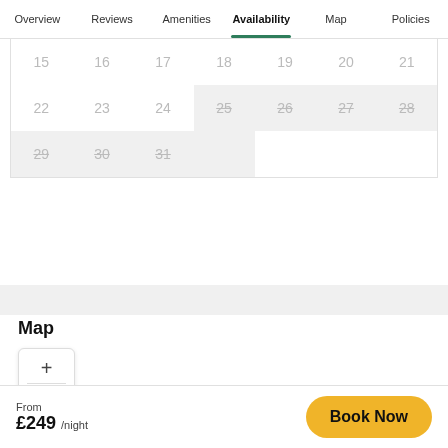Overview | Reviews | Amenities | Availability | Map | Policies
[Figure (other): Availability calendar showing dates 15–31 with dates 25–31 and 29–31 marked as unavailable (strikethrough, gray background). Calendar rows: row1: 15,16,17,18,19,20,21; row2: 22,23,24,25(unavail),26(unavail),27(unavail),28(unavail); row3: 29(unavail),30(unavail),31(unavail) then empty cells.]
Map
[Figure (map): Map area with zoom in (+) and zoom out (-) controls in a rounded white box on the left side.]
From £249 /night
Book Now